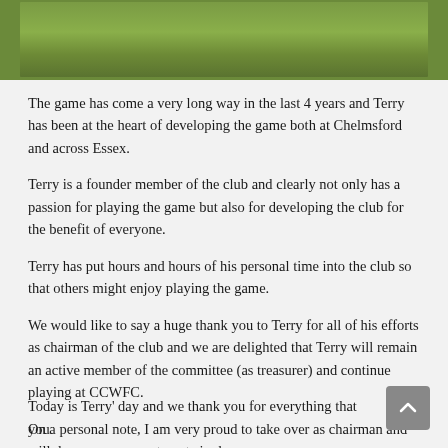[Figure (photo): Cropped photo showing a green grass background, likely a sports/football field]
The game has come a very long way in the last 4 years and Terry has been at the heart of developing the game both at Chelmsford and across Essex.
Terry is a founder member of the club and clearly not only has a passion for playing the game but also for developing the club for the benefit of everyone.
Terry has put hours and hours of his personal time into the club so that others might enjoy playing the game.
We would like to say a huge thank you to Terry for all of his efforts as chairman of the club and we are delighted that Terry will remain an active member of the committee (as treasurer) and continue playing at CCWFC.
On a personal note, I am very proud to take over as chairman and will drop you a separate note in due course.
Today is Terry' day and we thank you for everything that you